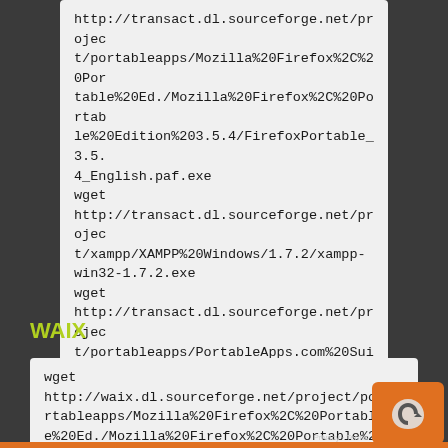http://transact.dl.sourceforge.net/project/portableapps/Mozilla%20Firefox%2C%20Portable%20Ed./Mozilla%20Firefox%2C%20Portable%20Edition%203.5.4/FirefoxPortable_3.5.4_English.paf.exe
wget
http://transact.dl.sourceforge.net/project/xampp/XAMPP%20Windows/1.7.2/xampp-win32-1.7.2.exe
wget
http://transact.dl.sourceforge.net/project/portableapps/PortableApps.com%20Suite/PortableApps.com%20Suite%201.5.2/PortableApps.com_Suite_Setup_1.5.2_en.exe
WAIX
wget
http://waix.dl.sourceforge.net/project/portableapps/Mozilla%20Firefox%2C%20Portable%20Ed./Mozilla%20Firefox%2C%20Portable%20Edition%203.5.4/FirefoxPortable_3.5.4_English.paf.exe